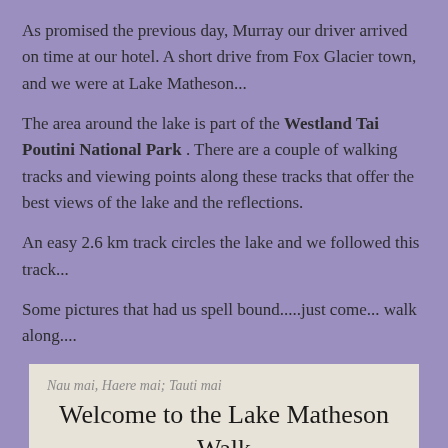As promised the previous day, Murray our driver arrived on time at our hotel. A short drive from Fox Glacier town, and we were at Lake Matheson...
The area around the lake is part of the Westland Tai Poutini National Park . There are a couple of walking tracks and viewing points along these tracks that offer the best views of the lake and the reflections.
An easy 2.6 km track circles the lake and we followed this track...
Some pictures that had us spell bound.....just come... walk along....
[Figure (photo): Welcome sign for the Lake Matheson Walk showing 'Nau mai, Haere mai; Tauti mai' at the top, 'Welcome to the Lake Matheson Walk' in large text, and 'Westland Tai Poutini National Park' below, with misty mountain scenery at the bottom.]